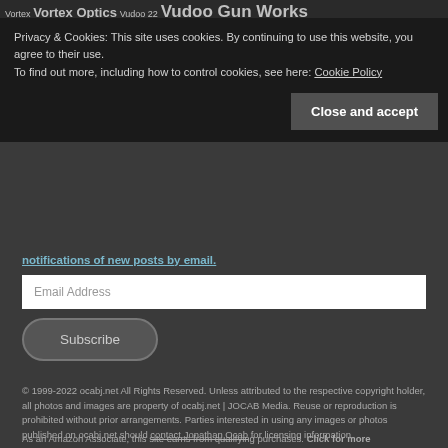Vortex Vortex Optics Vudoo 22 Vudoo Gun Works
Privacy & Cookies: This site uses cookies. By continuing to use this website, you agree to their use.
To find out more, including how to control cookies, see here: Cookie Policy
Close and accept
notifications of new posts by email.
Email Address
Subscribe
© 1999-2022 ocabj.net All Rights Reserved. Unless attributed to the respective copyright holder, all photos and images are property of ocabj.net | JOCAB Media. Reuse or reproduction is prohibited without prior arrangements. Parties interested in using any images or photos published on ocabj.net should contact Jonathan Ocab for licensing information.
As an Amazon Associate, this site earns from qualifying purchases. Click for more information.